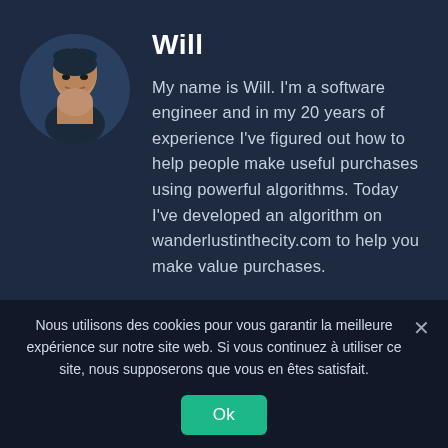[Figure (photo): Circular avatar photo of a bald man named Will, against a dark blue background]
Will
My name is Will. I'm a software engineer and in my 20 years of experience I've figured out how to help people make useful purchases using powerful algorithms. Today I've developed an algorithm on wanderlustinthecity.com to help you make value purchases.
Nous utilisons des cookies pour vous garantir la meilleure expérience sur notre site web. Si vous continuez à utiliser ce site, nous supposerons que vous en êtes satisfait.